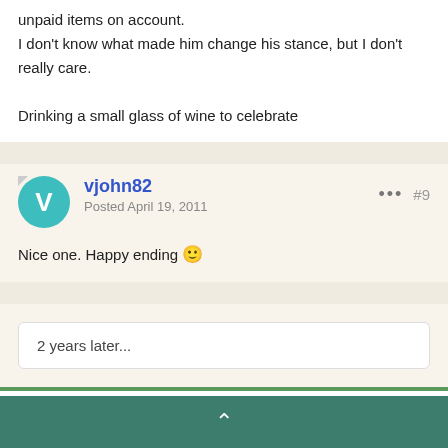unpaid items on account.
I don't know what made him change his stance, but I don't really care.

Drinking a small glass of wine to celebrate
vjohn82
Posted April 19, 2011
#9
Nice one. Happy ending 😊
2 years later...
acerbic
Posted May 3, 2013
#10